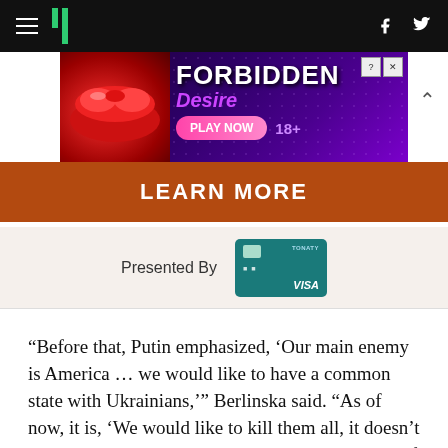HuffPost navigation with hamburger menu, logo, Facebook and Twitter icons
[Figure (photo): Advertisement banner: Forbidden Desire game ad with lips imagery, pink pill button reading PLAY NOW, 18+ label, close button. Below is a brown LEARN MORE button bar.]
Presented By
[Figure (photo): Teal credit card image (Visa card)]
“Before that, Putin emphasized, ‘Our main enemy is America … we would like to have a common state with Ukrainians,’” Berlinska said. “As of now, it is, ‘We would like to kill them all, it doesn’t matter: kids or elderly, doctors or teachers, color of skin, traditional family or LGBT.”